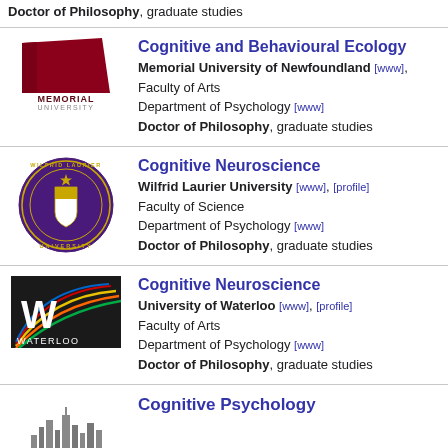Doctor of Philosophy, graduate studies
[Figure (logo): Memorial University of Newfoundland logo - red flag shape with MEMORIAL UNIVERSITY text]
Cognitive and Behavioural Ecology
Memorial University of Newfoundland [www],
Faculty of Arts
Department of Psychology [www]
Doctor of Philosophy, graduate studies
[Figure (logo): Wilfrid Laurier University circular seal/crest logo in purple]
Cognitive Neuroscience
Wilfrid Laurier University [www], [profile]
Faculty of Science
Department of Psychology [www]
Doctor of Philosophy, graduate studies
[Figure (logo): University of Waterloo logo - black background with W and coloured lines, WATERLOO text]
Cognitive Neuroscience
University of Waterloo [www], [profile]
Faculty of Arts
Department of Psychology [www]
Doctor of Philosophy, graduate studies
[Figure (logo): Partial university logo at bottom]
Cognitive Psychology